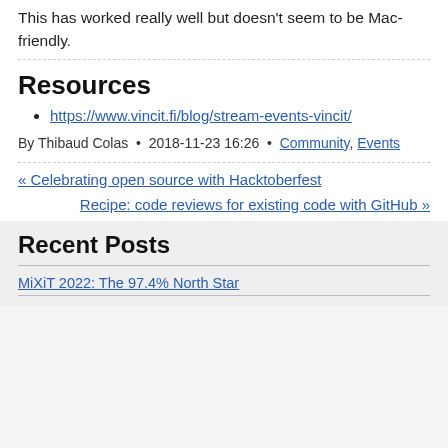This has worked really well but doesn't seem to be Mac-friendly.
Resources
https://www.vincit.fi/blog/stream-events-vincit/
By Thibaud Colas • 2018-11-23 16:26 • Community, Events
« Celebrating open source with Hacktoberfest
Recipe: code reviews for existing code with GitHub »
Recent Posts
MiXiT 2022: The 97.4% North Star